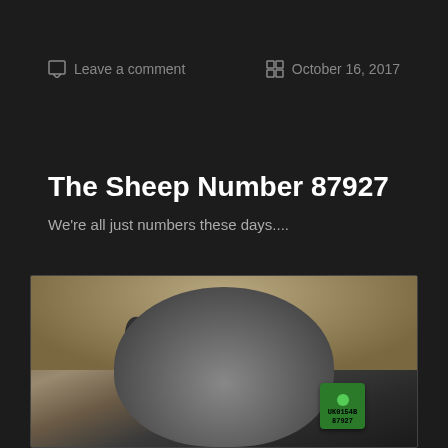Leave a comment
October 16, 2017
The Sheep Number 87927
We're all just numbers these days....
[Figure (photo): Close-up photograph of a sheep's head with a green ear tag numbered 87927. The sheep has wool visible in the background, with a blurred bokeh effect. The ear tag is prominently visible on the right ear.]